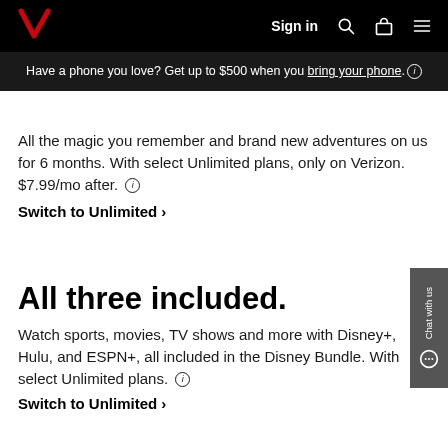Verizon — Sign in [navigation bar with search, bag, menu icons]
Have a phone you love? Get up to $500 when you bring your phone. ⓘ
All the magic you remember and brand new adventures on us for 6 months. With select Unlimited plans, only on Verizon. $7.99/mo after. ⓘ
Switch to Unlimited >
All three included.
Watch sports, movies, TV shows and more with Disney+, Hulu, and ESPN+, all included in the Disney Bundle. With select Unlimited plans. ⓘ
Switch to Unlimited >